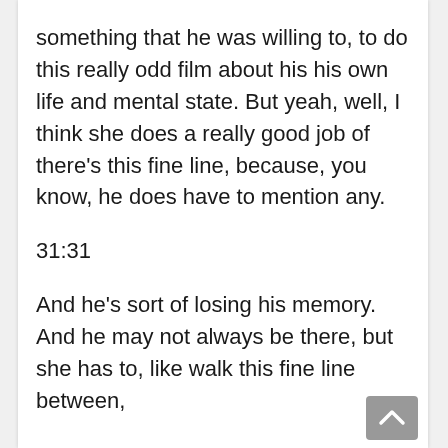something that he was willing to, to do this really odd film about his his own life and mental state. But yeah, well, I think she does a really good job of there's this fine line, because, you know, he does have to mention any.
31:31
And he's sort of losing his memory. And he may not always be there, but she has to, like walk this fine line between,